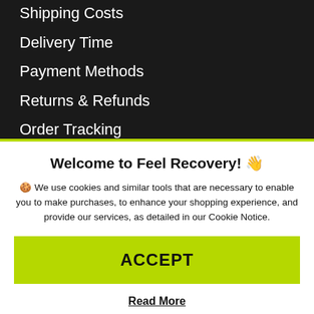Shipping Costs
Delivery Time
Payment Methods
Returns & Refunds
Order Tracking
Contact
Welcome to Feel Recovery! 👋
🍪 We use cookies and similar tools that are necessary to enable you to make purchases, to enhance your shopping experience, and provide our services, as detailed in our Cookie Notice.
ACCEPT
Read More